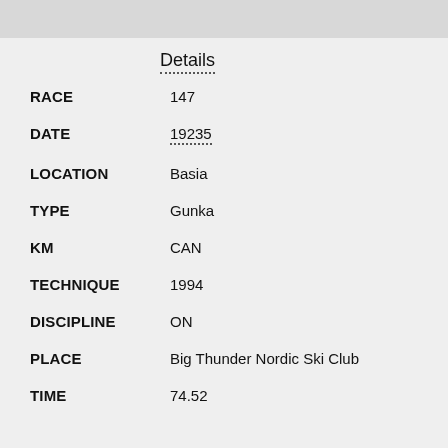Details
RACE 147
DATE 19235
LOCATION Basia
TYPE Gunka
KM CAN
TECHNIQUE 1994
DISCIPLINE ON
PLACE Big Thunder Nordic Ski Club
TIME 74.52